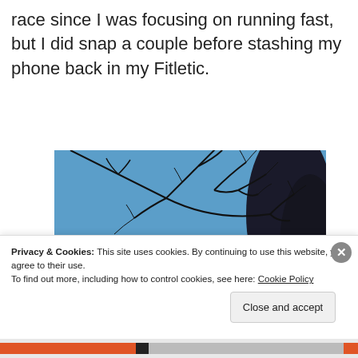race since I was focusing on running fast, but I did snap a couple before stashing my phone back in my Fitletic.
[Figure (photo): Outdoor photo looking up at bare tree branches against a blue sky, with a utility wire and more trees in the background.]
Privacy & Cookies: This site uses cookies. By continuing to use this website, you agree to their use.
To find out more, including how to control cookies, see here: Cookie Policy
Close and accept